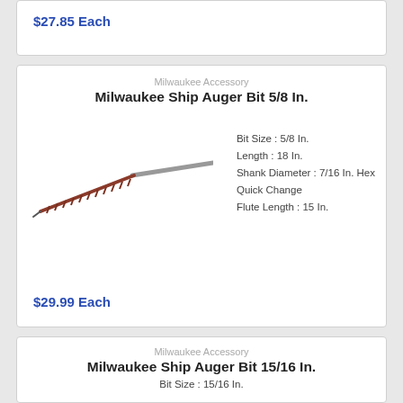$27.85 Each
Milwaukee Accessory
Milwaukee Ship Auger Bit 5/8 In.
Bit Size : 5/8 In.
Length : 18 In.
Shank Diameter : 7/16 In. Hex Quick Change
Flute Length : 15 In.
[Figure (photo): Milwaukee Ship Auger Bit 5/8 In. product photo, showing a long auger drill bit at an angle]
$29.99 Each
Milwaukee Accessory
Milwaukee Ship Auger Bit 15/16 In.
Bit Size : 15/16 In.